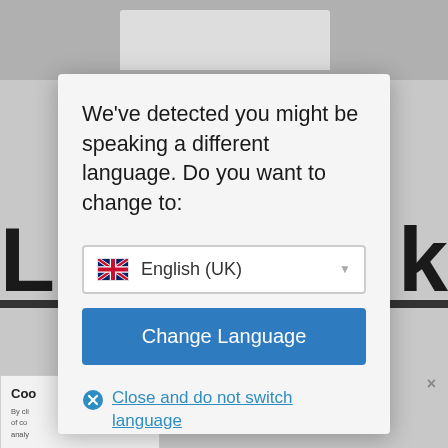[Figure (screenshot): Greyed-out background showing a webpage with large letters L and k visible, a monitor graphic at top, and a partial cookie/consent panel at bottom left.]
We've detected you might be speaking a different language. Do you want to change to:
English (UK)
Change Language
Close and do not switch language